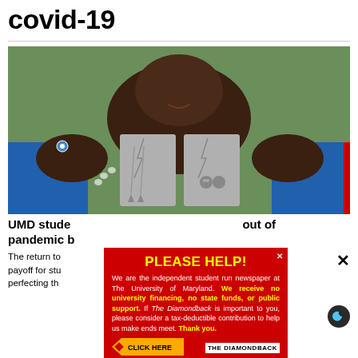covid-19
[Figure (photo): Person holding up two cards displaying dagger and skull earrings, wearing blue satin clothing and rings including an evil eye ring]
UMD students make the most out of pandemic by...
The return to campus... long-awaited payoff for students... pandemic perfecting th...
[Figure (other): Advertisement overlay: PLEASE HELP! We are the independent student run newspaper at The University of Maryland. We receive no university financing, no state funds, or public support. If The Diamondback is important to you, please consider a tax-deductible contribution to help us make ends meet. Thank you. CLICK HERE THE DIAMONDBACK]